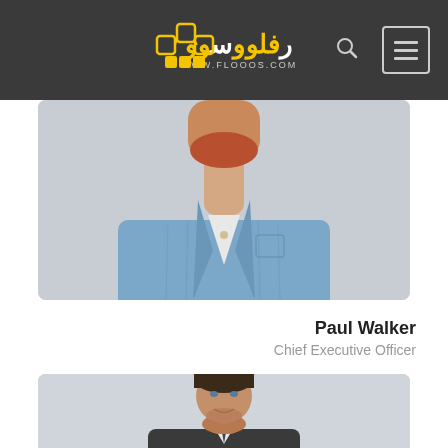[Figure (logo): Flooos website logo with Arabic text and URL www.flooos.com on dark header background]
[Figure (photo): Photo of a man with red beard wearing a blue denim shirt, cropped to show chest and neck area, on light gray background]
Paul Walker
Chief Executive Officer
[Figure (photo): Photo of a young man with dark hair and light beard, smiling, on light gray background]